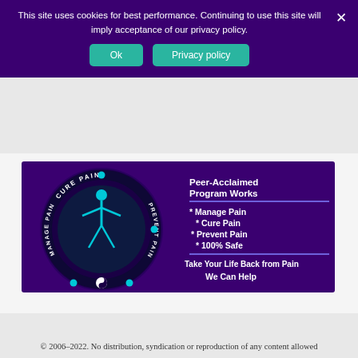This site uses cookies for best performance. Continuing to use this site will imply acceptance of our privacy policy.
Ok  Privacy policy
[Figure (infographic): Pain management program advertisement with circular diagram of human body labeled Manage Pain, Cure Pain, Prevent Pain. Right side lists: Peer-Acclaimed Program Works, * Manage Pain, * Cure Pain, * Prevent Pain, * 100% Safe, Take Your Life Back from Pain, We Can Help. Purple background.]
© 2006–2022. No distribution, syndication or reproduction of any content allowed